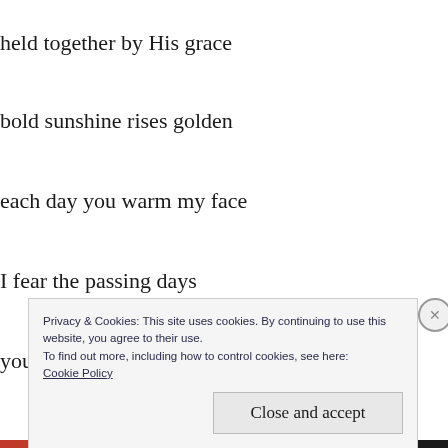held together by His grace
bold sunshine rises golden
each day you warm my face
I fear the passing days
you assure me with your love
Privacy & Cookies: This site uses cookies. By continuing to use this website, you agree to their use.
To find out more, including how to control cookies, see here:
Cookie Policy
Close and accept